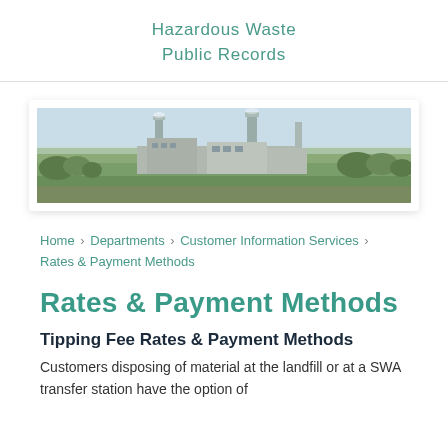Hazardous Waste
Public Records
[Figure (photo): Aerial panoramic photo of an industrial waste facility or power plant with tall smokestacks, industrial buildings, surrounded by green trees and flat landscape under a light sky.]
Home › Departments › Customer Information Services › Rates & Payment Methods
Rates & Payment Methods
Tipping Fee Rates & Payment Methods
Customers disposing of material at the landfill or at a SWA transfer station have the option of